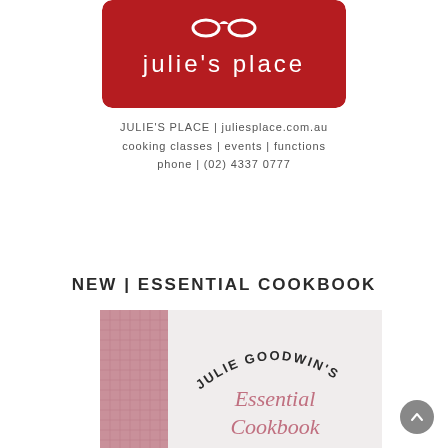[Figure (logo): Julie's Place logo — dark red/crimson rounded rectangle with white text 'julie's place' and a decorative swirl above]
JULIE'S PLACE | juliesplace.com.au
cooking classes | events | functions
phone | (02) 4337 0777
NEW | ESSENTIAL COOKBOOK
[Figure (photo): Cover of Julie Goodwin's Essential Cookbook — pink linen spine on left, white cover with arched text 'JULIE GOODWIN'S' and pink cursive text 'Essential Cookbook']